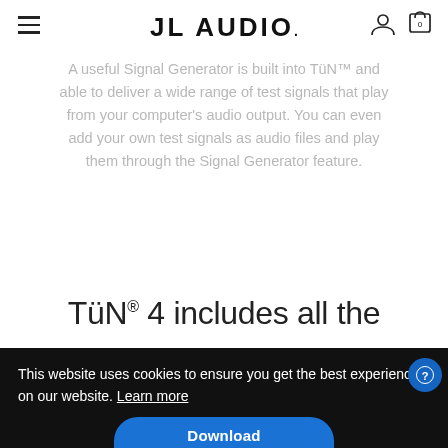JL AUDIO. [hamburger menu, user icon, cart icon with 0]
A useful Signal Generator is built into TüN™ and able to deliver a wide range of test signals that play from your computer's audio output. You can even add your own test signals as audio files and play them through the Signal Generator feature.
TüN® 4 includes all the
This website uses cookies to ensure you get the best experience on our website. Learn more
Got it!
Download